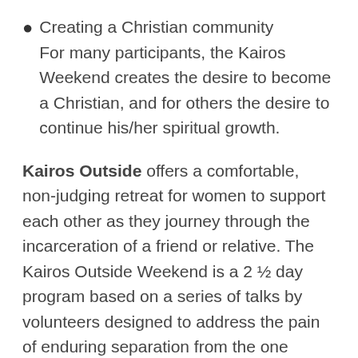Creating a Christian community For many participants, the Kairos Weekend creates the desire to become a Christian, and for others the desire to continue his/her spiritual growth.
Kairos Outside offers a comfortable, non-judging retreat for women to support each other as they journey through the incarceration of a friend or relative. The Kairos Outside Weekend is a 2 ½ day program based on a series of talks by volunteers designed to address the pain of enduring separation from the one inside and the judgment of others from their community.